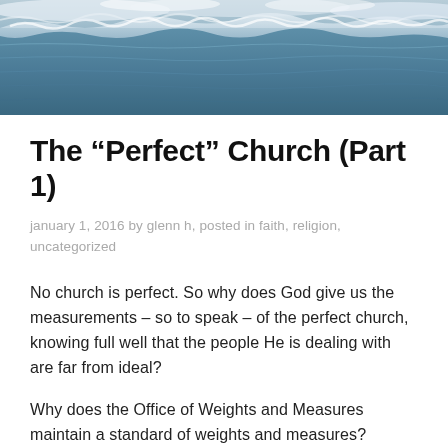[Figure (photo): Aerial or close-up photograph of ocean waves and water at the shoreline, with blue-grey tones.]
The “Perfect” Church (Part 1)
january 1, 2016 by glenn h, posted in faith, religion, uncategorized
No church is perfect. So why does God give us the measurements – so to speak – of the perfect church, knowing full well that the people He is dealing with are far from ideal?
Why does the Office of Weights and Measures maintain a standard of weights and measures?
Well, to quote from their site: